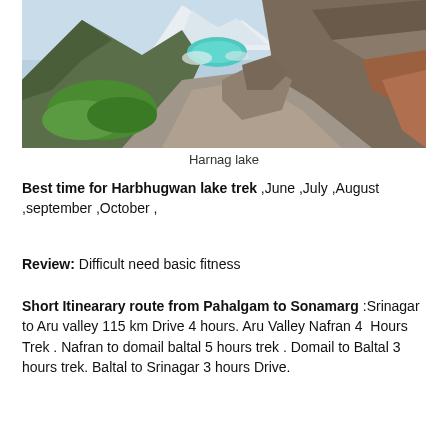[Figure (photo): Mountain valley landscape showing Harnag lake — a turquoise alpine lake surrounded by steep rocky slopes and green patches in a high-altitude valley with snow-capped peaks in the background.]
Harnag lake
Best time for Harbhugwan lake trek ,June ,July ,August ,september ,October ,
Review: Difficult need basic fitness
Short Itinearary route from Pahalgam to Sonamarg :Srinagar to Aru valley 115 km Drive 4 hours. Aru Valley Nafran 4  Hours Trek . Nafran to domail baltal 5 hours trek . Domail to Baltal 3 hours trek. Baltal to Srinagar 3 hours Drive.